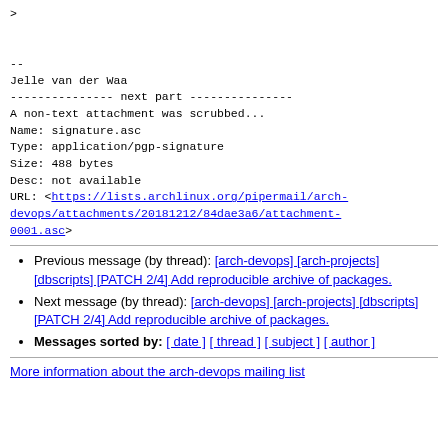>

--
Jelle van der Waa
--------------- next part ---------------
A non-text attachment was scrubbed...
Name: signature.asc
Type: application/pgp-signature
Size: 488 bytes
Desc: not available
URL: <https://lists.archlinux.org/pipermail/arch-devops/attachments/20181212/84dae3a6/attachment-0001.asc>
Previous message (by thread): [arch-devops] [arch-projects] [dbscripts] [PATCH 2/4] Add reproducible archive of packages.
Next message (by thread): [arch-devops] [arch-projects] [dbscripts] [PATCH 2/4] Add reproducible archive of packages.
Messages sorted by: [ date ] [ thread ] [ subject ] [ author ]
More information about the arch-devops mailing list